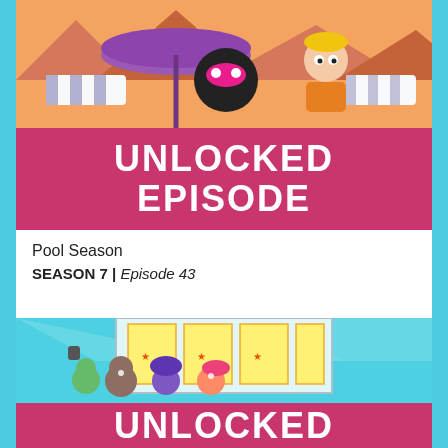[Figure (illustration): Cartoon characters at a pool scene with purple umbrella and a character in orange shirt, colorful animated style]
UNLOCKED EPISODE
Pool Season
SEASON 7 | Episode 43
[Figure (illustration): Cartoon Teen Titans characters celebrating in a comic book store with yellow poster art on windows, animated style]
UNLOCKED